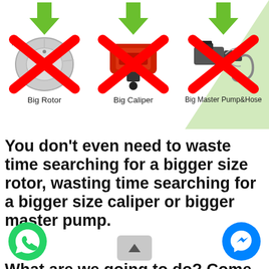[Figure (infographic): Three automotive brake parts each shown with a green down arrow above and a red X overlay: Big Rotor (brake disc), Big Caliper (red caliper assembly), Big Master Pump&Hose (brake master cylinder and hose). Green diagonal accent in top-right corner.]
You don't even need to waste time searching for a bigger size rotor, wasting time searching for a bigger size caliper or bigger master pump.
[Figure (infographic): WhatsApp chat button (green circle with white phone/chat icon) in bottom-left, Facebook Messenger button (blue circle with white lightning bolt) in bottom-right, and a scroll-up hint icon at bottom center.]
What are we going to do? Come is...